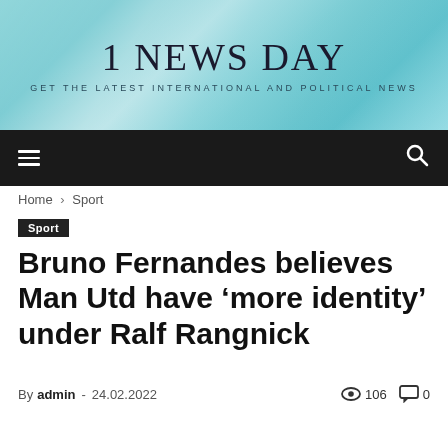1 NEWS DAY — GET THE LATEST INTERNATIONAL AND POLITICAL NEWS
[Figure (screenshot): Navigation bar with hamburger menu icon on left and search icon on right, dark background]
Home › Sport
Sport
Bruno Fernandes believes Man Utd have 'more identity' under Ralf Rangnick
By admin - 24.02.2022  👁 106  💬 0